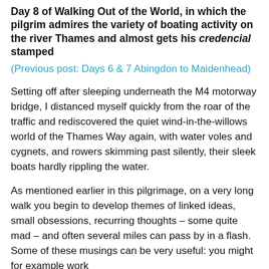Day 8 of Walking Out of the World, in which the pilgrim admires the variety of boating activity on the river Thames and almost gets his credencial stamped
(Previous post: Days 6 & 7 Abingdon to Maidenhead)
Setting off after sleeping underneath the M4 motorway bridge, I distanced myself quickly from the roar of the traffic and rediscovered the quiet wind-in-the-willows world of the Thames Way again, with water voles and cygnets, and rowers skimming past silently, their sleek boats hardly rippling the water.
As mentioned earlier in this pilgrimage, on a very long walk you begin to develop themes of linked ideas, small obsessions, recurring thoughts – some quite mad – and often several miles can pass by in a flash. Some of these musings can be very useful: you might for example work